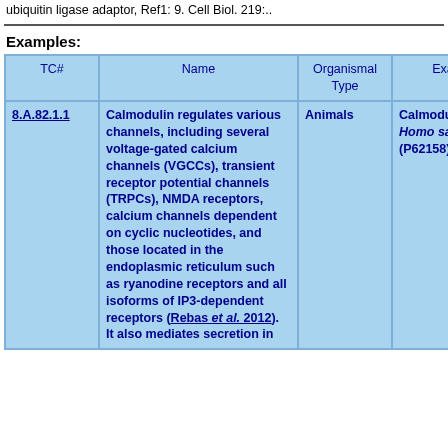ubiquitin ligase adaptor, Ref1: 9. Cell Biol. 219:..
Examples:
| TC# | Name | Organismal Type | Example |
| --- | --- | --- | --- |
| 8.A.82.1.1 | Calmodulin regulates various channels, including several voltage-gated calcium channels (VGCCs), transient receptor potential channels (TRPCs), NMDA receptors, calcium channels dependent on cyclic nucleotides, and those located in the endoplasmic reticulum such as ryanodine receptors and all isoforms of IP3-dependent receptors (Rebas et al. 2012). It also mediates secretion in | Animals | Calmodulin of Homo sapiens (P62158) |